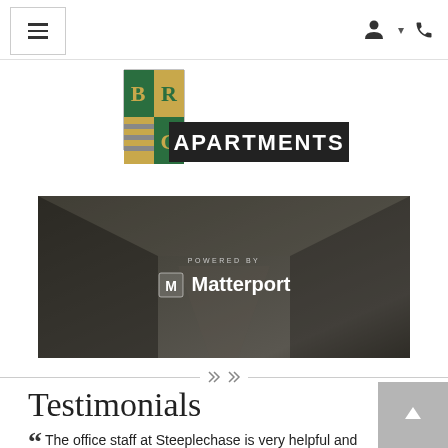BRG Apartments navigation bar with hamburger menu and user/phone icons
[Figure (logo): BRG Apartments logo: shield with B, R, G letters in green and gold, with 'APARTMENTS' text on dark background]
[Figure (screenshot): Matterport 3D tour embed banner showing a dark interior corridor with 'POWERED BY Matterport' overlay text and logo]
[Figure (other): Horizontal divider line with two diamond/chevron navigation icons in the center]
Testimonials
The office staff at Steeplechase is very helpful and